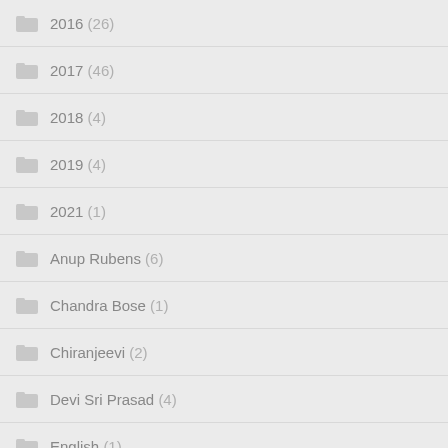2016 (26)
2017 (46)
2018 (4)
2019 (4)
2021 (1)
Anup Rubens (6)
Chandra Bose (1)
Chiranjeevi (2)
Devi Sri Prasad (4)
English (1)